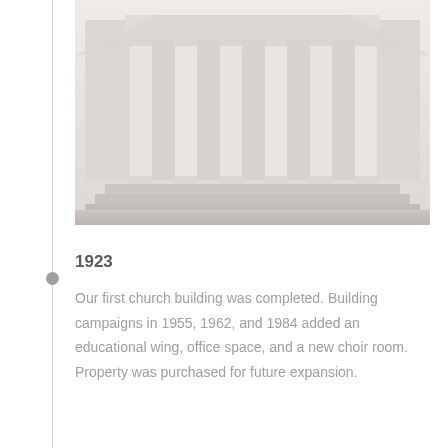[Figure (photo): Black and white photograph of a church building exterior showing large classical columns at the entrance, with steps leading up to the portico.]
1923
Our first church building was completed. Building campaigns in 1955, 1962, and 1984 added an educational wing, office space, and a new choir room. Property was purchased for future expansion.